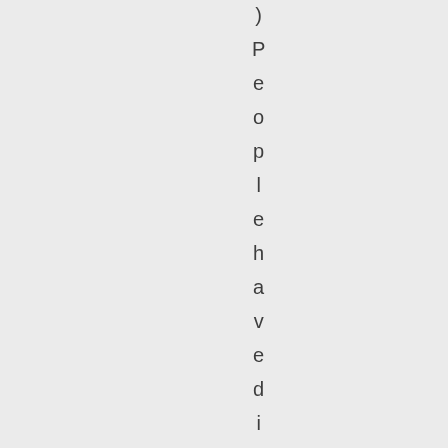) P e o p l e h a v e d i f f e